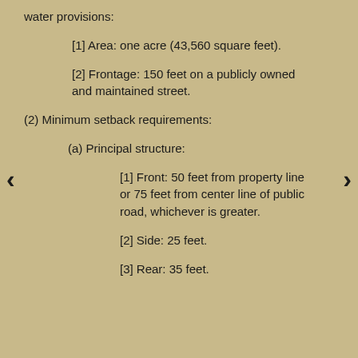water provisions:
[1] Area: one acre (43,560 square feet).
[2] Frontage: 150 feet on a publicly owned and maintained street.
(2) Minimum setback requirements:
(a) Principal structure:
[1] Front: 50 feet from property line or 75 feet from center line of public road, whichever is greater.
[2] Side: 25 feet.
[3] Rear: 35 feet.